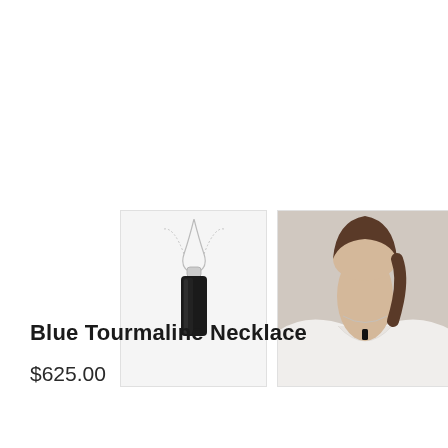[Figure (photo): Two product images side by side: left image shows a black tourmaline pendant necklace on a silver chain against a white background; right image shows a woman wearing the necklace, visible from chin to chest, wearing a white top.]
Blue Tourmaline Necklace
$625.00